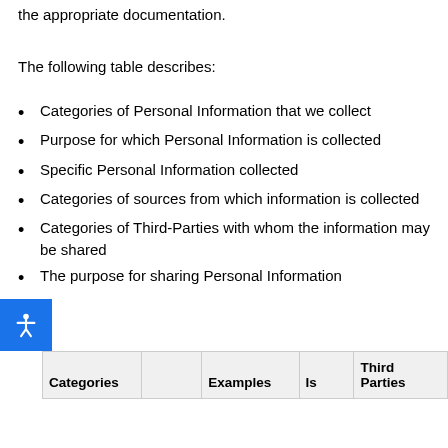the appropriate documentation.
The following table describes:
Categories of Personal Information that we collect
Purpose for which Personal Information is collected
Specific Personal Information collected
Categories of sources from which information is collected
Categories of Third-Parties with whom the information may be shared
The purpose for sharing Personal Information
[Figure (other): Accessibility icon button (blue background with white person/accessibility symbol)]
| Categories |  | Examples | Is | Third Parties |
| --- | --- | --- | --- | --- |